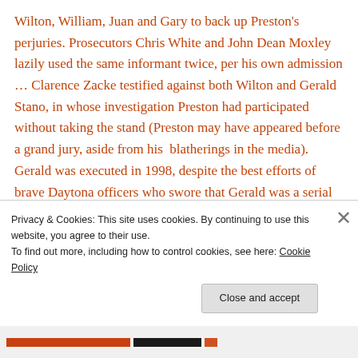Wilton, William, Juan and Gary to back up Preston's perjuries. Prosecutors Chris White and John Dean Moxley lazily used the same informant twice, per his own admission … Clarence Zacke testified against both Wilton and Gerald Stano, in whose investigation Preston had participated without taking the stand (Preston may have appeared before a grand jury, aside from his  blatherings in the media). Gerald was executed in 1998, despite the best efforts of brave Daytona officers who swore that Gerald was a serial confessor, not a serial killer. In 2002, hopless schizophrenic Linroy Patterson was executed
Privacy & Cookies: This site uses cookies. By continuing to use this website, you agree to their use.
To find out more, including how to control cookies, see here: Cookie Policy
Close and accept